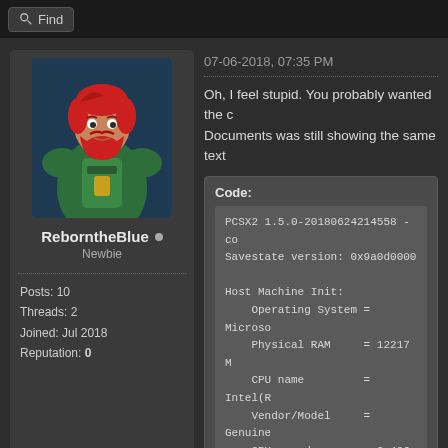Find
[Figure (illustration): User avatar showing a cartoon character with red hair and beard, wearing dark armor with green elements]
ReborntheBlue • Newbie
Posts: 10
Threads: 2
Joined: Jul 2018
Reputation: 0
07-06-2018, 07:35 PM
Oh, I feel stupid. You probably wanted the c Documents was still showing the same text
Code:
PCSX2 1.5.0-20180624214558 - co
Savestate version: 0x9a0d0000

Host Machine Init:
    Operating System = Microso
    Physical RAM     = 12217 M
    CPU name         = Intel(R
    Vendor/Model     = Genuine
    CPU speed        = 3.406 g
    x86PType         = Standar
    x86Flags         = bfebfb
OS: Windows 10 Home 64-Bit
CPU: Intel Core i7 6700 @ 3.40GHz 40 °C